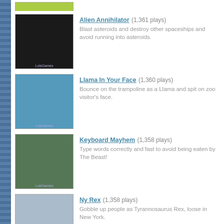Alien Annihilator (1,361 plays) — Blast asteroids and destroy other spaceships and avoid running into asteroids.
Llama In Your Face (1,360 plays) — Bounce on the trampoline as a Llama and spit on zoo visitor's face.
Keyboard Mayhem (1,358 plays) — Type words correctly and fast to avoid being eaten by The Beast!
Ny Rex (1,358 plays) — Gobble up people as Tyrannosaurus Rex, loose in New York.
Super Slash Ninja (1,356 plays) — Ghouls and Ghosts meets Mario Bros! Reach the exit in this multilevel, Samurai-themed Platformer.
Naruto War (1,354 plays) — Interact with Naruto characters, go on missions and defeat enemies.
Blow Things Up (1,353 plays) — Knock the bad guys off the block structures by planting bombs.
Heliwars (1,351 plays) — Fly an army chopper and drop bombs and shoot down the enemy.